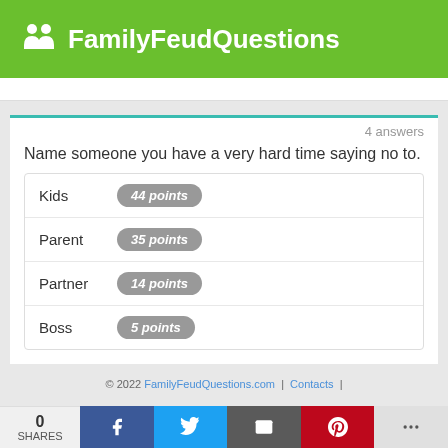FamilyFeudQuestions
4 answers
Name someone you have a very hard time saying no to.
| Answer | Points |
| --- | --- |
| Kids | 44 points |
| Parent | 35 points |
| Partner | 14 points |
| Boss | 5 points |
© 2022 FamilyFeudQuestions.com | Contacts |
0 SHARES